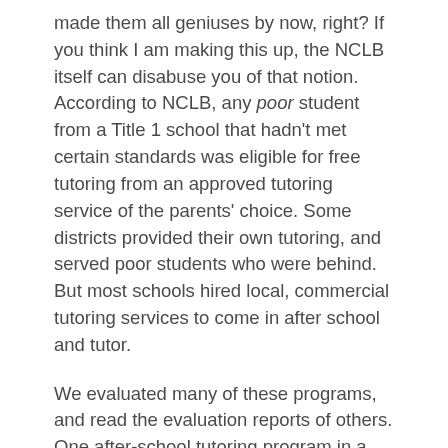made them all geniuses by now, right? If you think I am making this up, the NCLB itself can disabuse you of that notion. According to NCLB, any poor student from a Title 1 school that hadn't met certain standards was eligible for free tutoring from an approved tutoring service of the parents' choice. Some districts provided their own tutoring, and served poor students who were behind. But most schools hired local, commercial tutoring services to come in after school and tutor.
We evaluated many of these programs, and read the evaluation reports of others. One after-school tutoring program in a large urban district was using four commercial tutoring services. The poor kids' parents were told their children were eligible for after-school tutoring from [very expensive commercial tutoring services].  All the poor kids were eligible. We were called in near the end of the